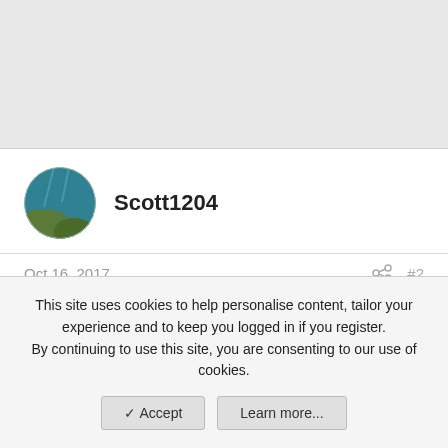Scott1204
Oct 16, 2017  #2
milkfrozen said: Hello there! I'm stuck at a very strange problem. I have installed the High Sierra Beta (Public 1) and everything works fine now except one
This site uses cookies to help personalise content, tailor your experience and to keep you logged in if you register. By continuing to use this site, you are consenting to our use of cookies.